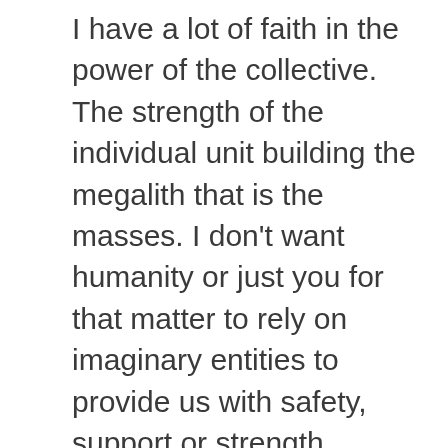I have a lot of faith in the power of the collective. The strength of the individual unit building the megalith that is the masses. I don't want humanity or just you for that matter to rely on imaginary entities to provide us with safety, support or strength. That's what it's come to this era.

We rely on one company to send us our skeleton keys, inform us of the things we knew already but packaged externally in a dehumanizing format, monitor